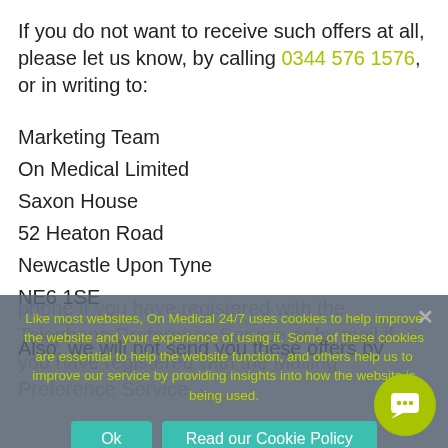If you do not want to receive such offers at all, please let us know, by calling 0344 576 1576, or in writing to:
Marketing Team
On Medical Limited
Saxon House
52 Heaton Road
Newcastle Upon Tyne
NE6 1SE
Also, we will not send you these offers by phone if you have registered with the Telephone Preference Service or by mail if you have registered with the Mailing Preference Service.
Like most websites, On Medical 24/7 uses cookies to help improve the website and your experience of using it. Some of these cookies are essential to help the website function, and others help us to improve our service by providing insights into how the website is being used.